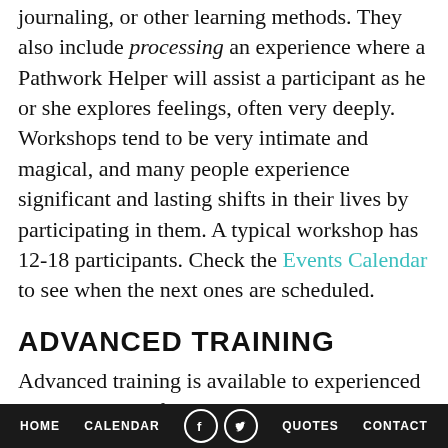journaling, or other learning methods. They also include processing an experience where a Pathwork Helper will assist a participant as he or she explores feelings, often very deeply. Workshops tend to be very intimate and magical, and many people experience significant and lasting shifts in their lives by participating in them. A typical workshop has 12-18 participants. Check the Events Calendar to see when the next ones are scheduled.
ADVANCED TRAINING
Advanced training is available to experienced Pathworkers as follows:
HOME   CALENDAR   [facebook]   [twitter]   QUOTES   CONTACT